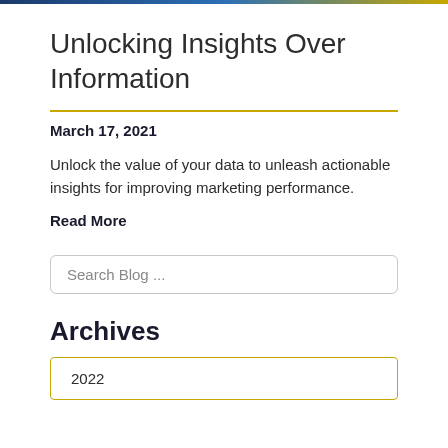Unlocking Insights Over Information
March 17, 2021
Unlock the value of your data to unleash actionable insights for improving marketing performance.
Read More
Search Blog ...
Archives
2022